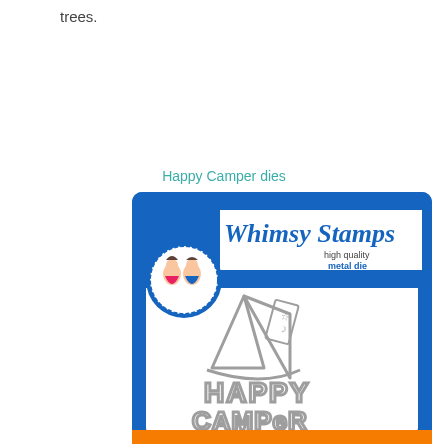trees.
Happy Camper dies
[Figure (photo): Whimsy Stamps product packaging for 'Happy Camper' metal dies. Blue packaging with logo showing two cartoon characters. White product window area showing grey metal die cuts: a camping tent shape, and 'Happy Camper' text dies. Orange bar at bottom. Text on package: 'Whimsy Stamps', 'high quality', 'metal die'.]